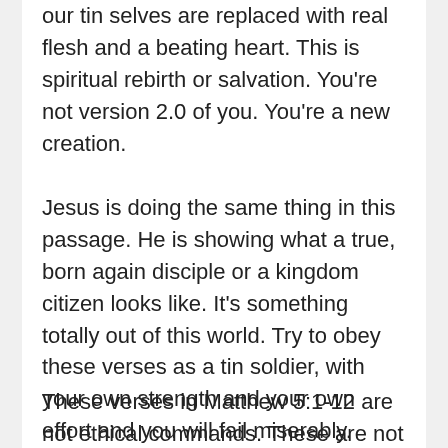our tin selves are replaced with real flesh and a beating heart. This is spiritual rebirth or salvation. You're not version 2.0 of you. You're a new creation.
Jesus is doing the same thing in this passage. He is showing what a true, born again disciple or a kingdom citizen looks like. It's something totally out of this world. Try to obey these verses as a tin soldier, with your own strength and your own effort and you will fail miserably.
These verses in Matthew 5:1-12 are not ethical commands. These are not things that